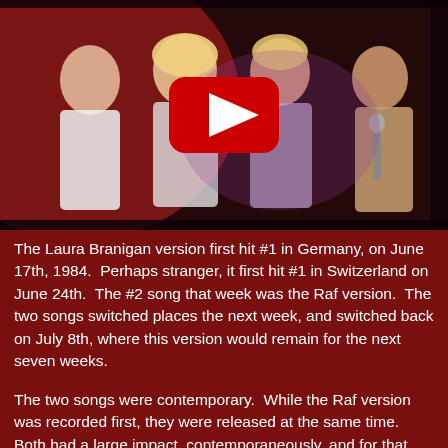[Figure (screenshot): YouTube video thumbnail showing people singing/performing on stage with red lighting. A YouTube play button (red circle with white triangle) is overlaid in the center.]
The Laura Branigan version first hit #1 in Germany, on June 17th, 1984.  Perhaps stranger, it first hit #1 in Switzerland on June 24th.  The #2 song that week was the Raf version.  The two songs switched places the next week, and switched back on July 8th, where this version would remain for the next seven weeks.
The two songs were contemporary.  While the Raf version was recorded first, they were released at the same time.  Both had a large impact, contemporaneously, and for that reason, I am placing them both here.